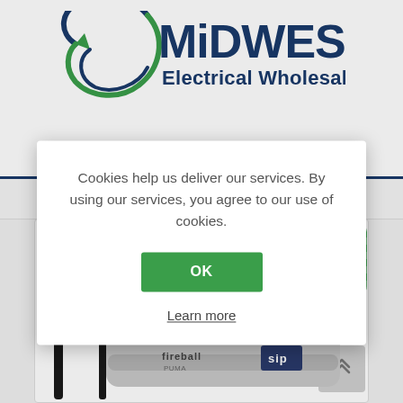[Figure (logo): Midwest Electrical Wholesale Ltd. logo with green circular arrow graphic and dark blue text]
Cookies help us deliver our services. By using our services, you agree to our use of cookies.
OK
Learn more
[Figure (illustration): ErP Compliant green badge in top right of product card]
[Figure (photo): SIP Fireball diesel space heater, silver/chrome cylindrical unit with black handle frame, partially visible at bottom of page]